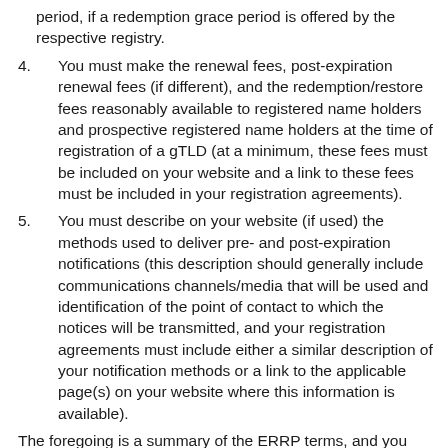period, if a redemption grace period is offered by the respective registry.
4. You must make the renewal fees, post-expiration renewal fees (if different), and the redemption/restore fees reasonably available to registered name holders and prospective registered name holders at the time of registration of a gTLD (at a minimum, these fees must be included on your website and a link to these fees must be included in your registration agreements).
5. You must describe on your website (if used) the methods used to deliver pre- and post-expiration notifications (this description should generally include communications channels/media that will be used and identification of the point of contact to which the notices will be transmitted, and your registration agreements must include either a similar description of your notification methods or a link to the applicable page(s) on your website where this information is available).
The foregoing is a summary of the ERRP terms, and you